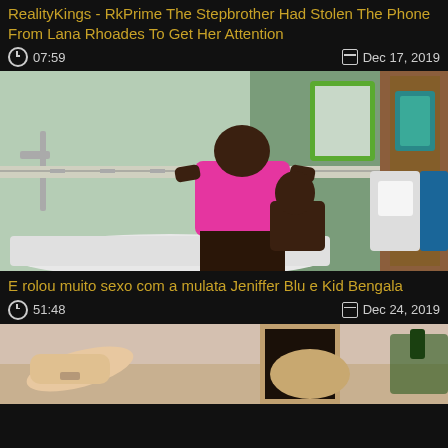RealityKings - RkPrime The Stepbrother Had Stolen The Phone From Lana Rhoades To Get Her Attention
07:59   Dec 17, 2019
[Figure (photo): Bathroom scene thumbnail showing two people near a bathtub]
E rolou muito sexo com a mulata Jeniffer Blu e Kid Bengala
51:48   Dec 24, 2019
[Figure (photo): Partial thumbnail of another video, showing person on bed]